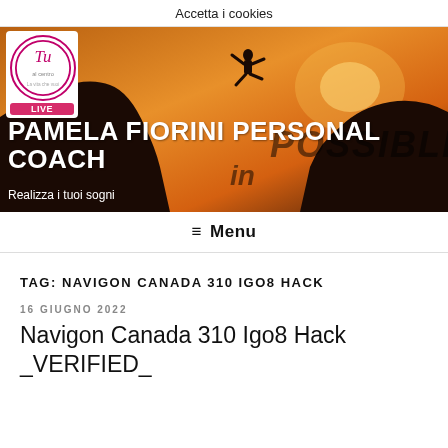Accetta i cookies
[Figure (photo): Hero banner with silhouette of person jumping between two cliffs at sunset, with text PAMELA FIORINI PERSONAL COACH and tagline Realizza i tuoi sogni. Logo with LIVE badge in top left.]
PAMELA FIORINI PERSONAL COACH
Realizza i tuoi sogni
≡ Menu
TAG: NAVIGON CANADA 310 IGO8 HACK
16 GIUGNO 2022
Navigon Canada 310 Igo8 Hack _VERIFIED_